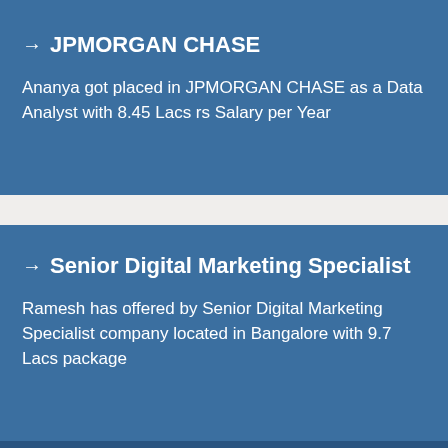→ JPMORGAN CHASE
Ananya got placed in JPMORGAN CHASE as a Data Analyst with 8.45 Lacs rs Salary per Year
→ Senior Digital Marketing Specialist
Ramesh has offered by Senior Digital Marketing Specialist company located in Bangalore with 9.7 Lacs package
+91 7676765421   REQUEST CALL BACK